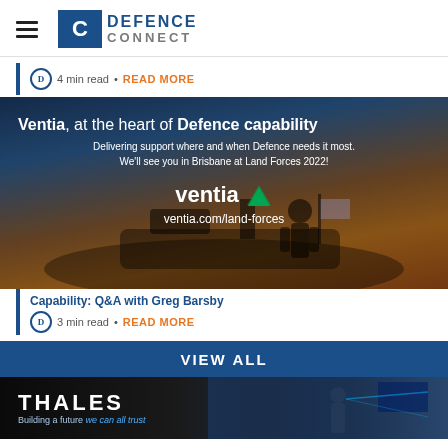Defence Connect
4 min read • READ MORE
[Figure (photo): Ventia advertisement banner with military vehicle silhouette at sunset. Text reads: 'Ventia, at the heart of Defence capability. Delivering support where and when Defence needs it most. We'll see you in Brisbane at Land Forces 2022! ventia ventia.com/land-forces']
Capability: Q&A with Greg Barsby
3 min read • READ MORE
VIEW ALL
[Figure (photo): Thales advertisement banner. Text: THALES Building a future we can all trust. Background shows soldier and flag imagery.]